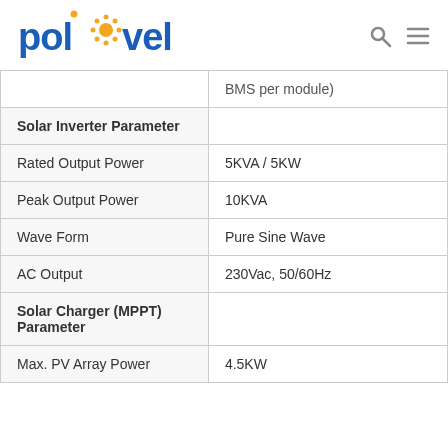Polinovel
| Parameter | Value |
| --- | --- |
| BMS per module) |  |
| Solar Inverter Parameter |  |
| Rated Output Power | 5KVA/5KW |
| Peak Output Power | 10KVA |
| Wave Form | Pure Sine Wave |
| AC Output | 230Vac, 50/60Hz |
| Solar Charger (MPPT) Parameter |  |
| Max. PV Array Power | 4.5KW |